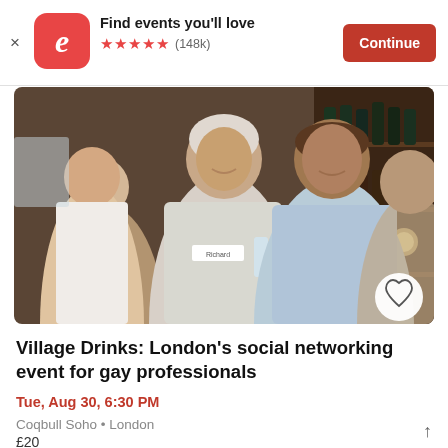Find events you'll love ★★★★★ (148k) Continue
[Figure (photo): Group of people at a social networking event in a bar setting, two men smiling in the foreground, crowd in background, wine bottles on shelves]
Village Drinks: London's social networking event for gay professionals
Tue, Aug 30, 6:30 PM
Coqbull Soho • London
£20